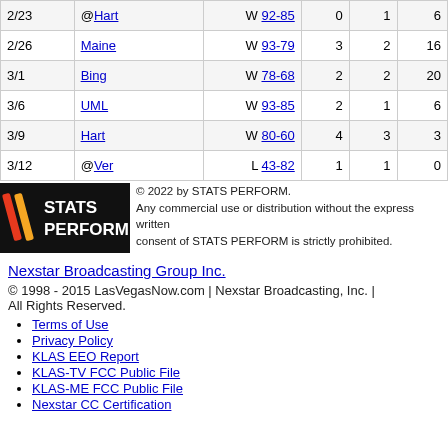| Date | Opponent | Result |  |  |  |
| --- | --- | --- | --- | --- | --- |
| 2/23 | @Hart | W 92-85 | 0 | 1 | 6 |
| 2/26 | Maine | W 93-79 | 3 | 2 | 16 |
| 3/1 | Bing | W 78-68 | 2 | 2 | 20 |
| 3/6 | UML | W 93-85 | 2 | 1 | 6 |
| 3/9 | Hart | W 80-60 | 4 | 3 | 3 |
| 3/12 | @Ver | L 43-82 | 1 | 1 | 0 |
[Figure (logo): STATS PERFORM logo — black background with orange/red slash marks and white text]
© 2022 by STATS PERFORM. Any commercial use or distribution without the express written consent of STATS PERFORM is strictly prohibited.
Nexstar Broadcasting Group Inc.
© 1998 - 2015 LasVegasNow.com | Nexstar Broadcasting, Inc. | All Rights Reserved.
Terms of Use
Privacy Policy
KLAS EEO Report
KLAS-TV FCC Public File
KLAS-ME FCC Public File
Nexstar CC Certification